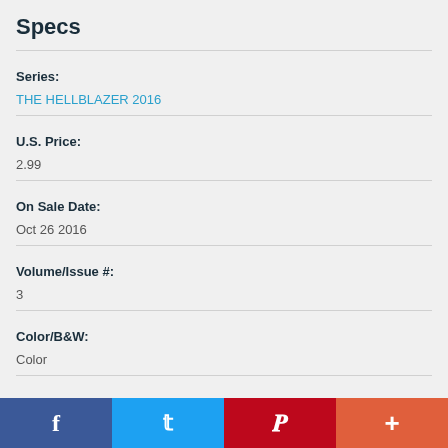Specs
Series:
THE HELLBLAZER 2016
U.S. Price:
2.99
On Sale Date:
Oct 26 2016
Volume/Issue #:
3
Color/B&W:
Color